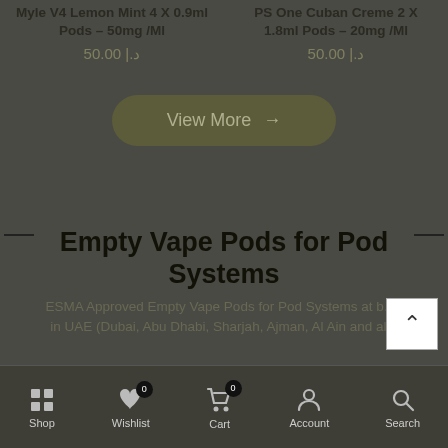Myle V4 Lemon Mint 4 X 0.9ml Pods – 50mg /Ml
50.00 |.د
PS One Cuban Creme 2 X 1.8ml Pods – 20mg /Ml
50.00 |.د
View More →
Empty Vape Pods for Pod Systems
ESMA Approved Empty Vape Pods for Pod Systems at b... in UAE (Dubai, Abu Dhabi, Sharjah, Ajman, Al Ain and al...
Shop   Wishlist   Cart   Account   Search